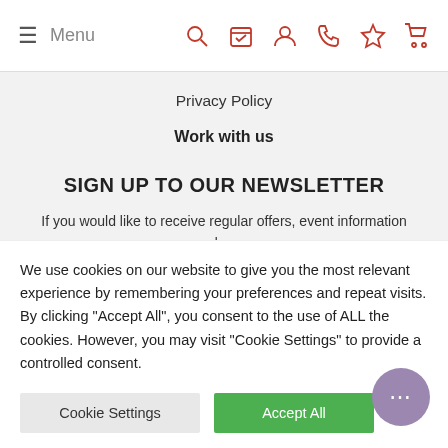≡ Menu [nav icons: search, calendar, user, phone, star, cart]
Privacy Policy
Work with us
SIGN UP TO OUR NEWSLETTER
If you would like to receive regular offers, event information and more please use the form below to subscribe to our newsletter...
Name
We use cookies on our website to give you the most relevant experience by remembering your preferences and repeat visits. By clicking "Accept All", you consent to the use of ALL the cookies. However, you may visit "Cookie Settings" to provide a controlled consent.
Cookie Settings
Accept All